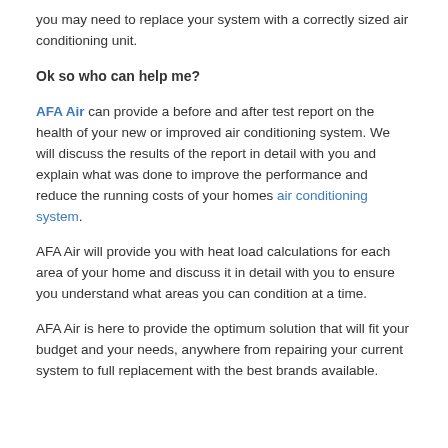you may need to replace your system with a correctly sized air conditioning unit.
Ok so who can help me?
AFA Air can provide a before and after test report on the health of your new or improved air conditioning system. We will discuss the results of the report in detail with you and explain what was done to improve the performance and reduce the running costs of your homes air conditioning system.
AFA Air will provide you with heat load calculations for each area of your home and discuss it in detail with you to ensure you understand what areas you can condition at a time.
AFA Air is here to provide the optimum solution that will fit your budget and your needs, anywhere from repairing your current system to full replacement with the best brands available.